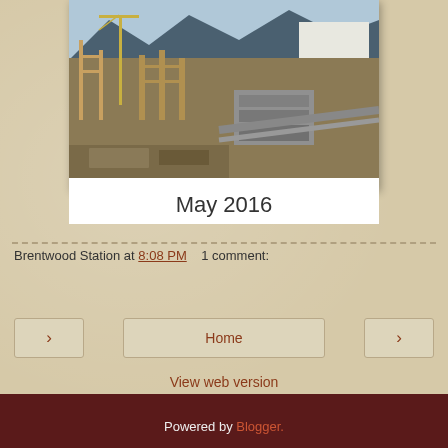[Figure (photo): Construction site aerial photo showing building framework, cranes, mountains in background - labeled May 2016]
May 2016
Brentwood Station at 8:08 PM   1 comment:
Share
Home
View web version
Powered by Blogger.